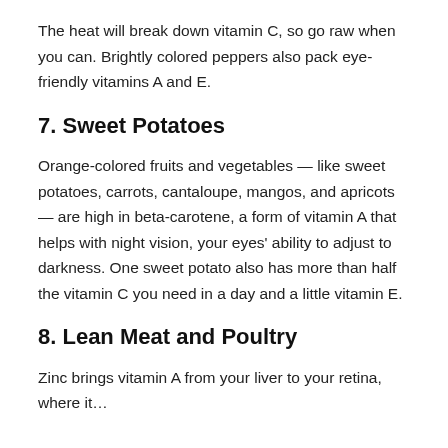The heat will break down vitamin C, so go raw when you can. Brightly colored peppers also pack eye-friendly vitamins A and E.
7. Sweet Potatoes
Orange-colored fruits and vegetables — like sweet potatoes, carrots, cantaloupe, mangos, and apricots — are high in beta-carotene, a form of vitamin A that helps with night vision, your eyes' ability to adjust to darkness. One sweet potato also has more than half the vitamin C you need in a day and a little vitamin E.
8. Lean Meat and Poultry
Zinc brings vitamin A from your liver to your retina, where it…